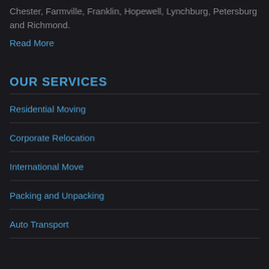Chester, Farmville, Franklin, Hopewell, Lynchburg, Petersburg and Richmond.
Read More
OUR SERVICES
Residential Moving
Corporate Relocation
International Move
Packing and Unpacking
Auto Transport